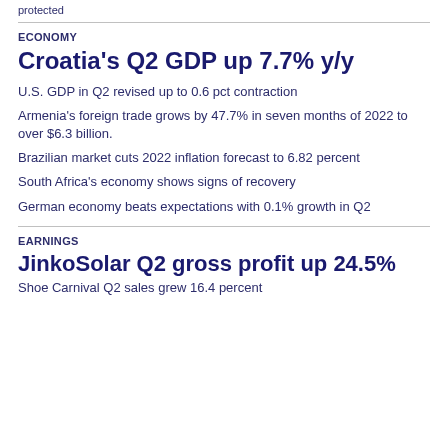protected
ECONOMY
Croatia's Q2 GDP up 7.7% y/y
U.S. GDP in Q2 revised up to 0.6 pct contraction
Armenia's foreign trade grows by 47.7% in seven months of 2022 to over $6.3 billion.
Brazilian market cuts 2022 inflation forecast to 6.82 percent
South Africa's economy shows signs of recovery
German economy beats expectations with 0.1% growth in Q2
EARNINGS
JinkoSolar Q2 gross profit up 24.5%
Shoe Carnival Q2 sales grew 16.4 percent